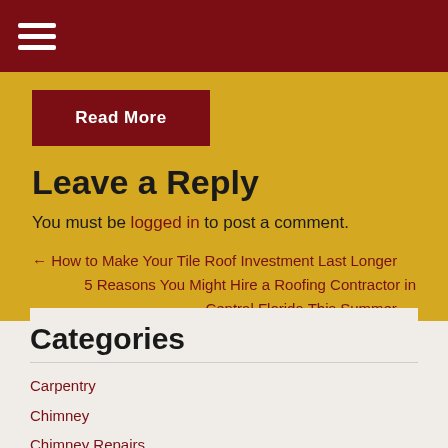☰
Read More
Leave a Reply
You must be logged in to post a comment.
← How to Make Your Tile Roof Investment Last Longer
5 Reasons You Might Hire a Roofing Contractor in Central Florida This Summer →
Categories
Carpentry
Chimney
Chimney Repairs
Commercial Roofing